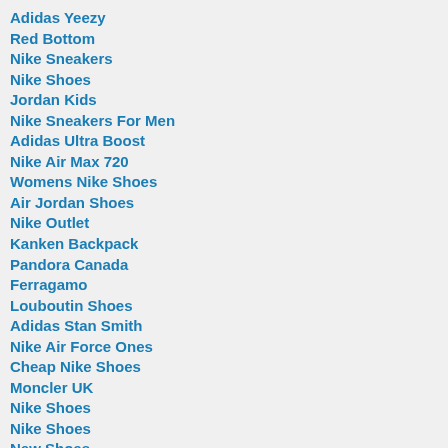Adidas Yeezy
Red Bottom
Nike Sneakers
Nike Shoes
Jordan Kids
Nike Sneakers For Men
Adidas Ultra Boost
Nike Air Max 720
Womens Nike Shoes
Air Jordan Shoes
Nike Outlet
Kanken Backpack
Pandora Canada
Ferragamo
Louboutin Shoes
Adidas Stan Smith
Nike Air Force Ones
Cheap Nike Shoes
Moncler UK
Nike Shoes
Nike Shoes
New Shoes
Nike Shoes For Kids
Air Jordan Sneakers
Nike Cortez Men